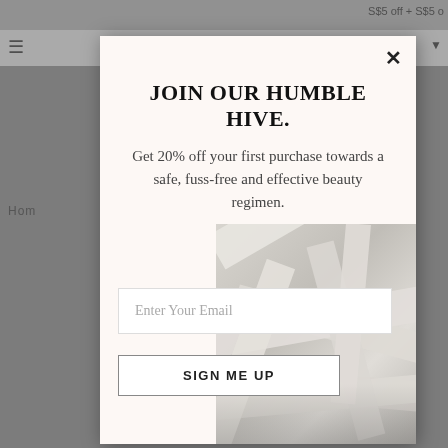S$5 off + S$5 off
[Figure (screenshot): Website background showing navigation bar with hamburger menu and dropdown arrow, partially visible product shelf area, and breadcrumb navigation reading 'Hom...']
JOIN OUR HUMBLE HIVE.
Get 20% off your first purchase towards a safe, fuss-free and effective beauty regimen.
Enter Your Email
SIGN ME UP